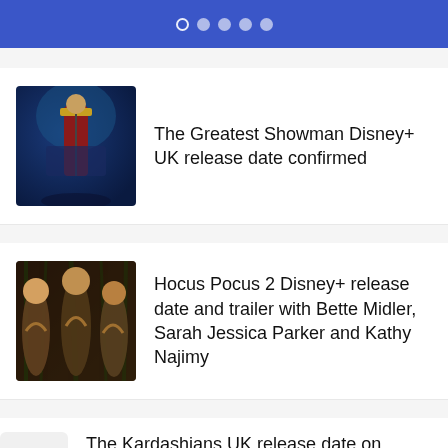• • • • •
[Figure (photo): Movie still from The Greatest Showman showing a performer in a red jacket with arm raised against blue-lit stage background]
The Greatest Showman Disney+ UK release date confirmed
[Figure (photo): Movie still from Hocus Pocus 2 showing three witches with arms raised in a forest setting]
Hocus Pocus 2 Disney+ release date and trailer with Bette Midler, Sarah Jessica Parker and Kathy Najimy
The Kardashians UK release date on Disney+ for new season in 2022